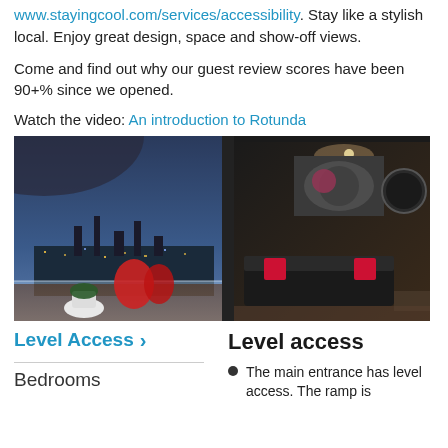www.stayingcool.com/services/accessibility. Stay like a stylish local. Enjoy great design, space and show-off views.
Come and find out why our guest review scores have been 90+% since we opened.
Watch the video: An introduction to Rotunda
[Figure (photo): Interior/exterior photo of a high-rise apartment: left side shows a curved balcony with red chairs and potted plants overlooking a city skyline at dusk; right side shows a dark-toned living room with a sofa with red cushions, artwork on the wall, and warm lighting.]
Level Access
Level access
Bedrooms
The main entrance has level access. The ramp is